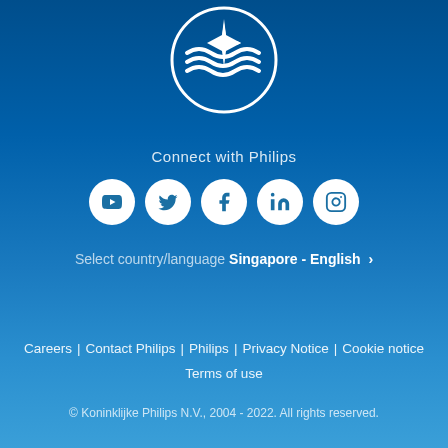[Figure (logo): Philips logo — white shield/circle with wave lines and four-pointed star on blue background]
Connect with Philips
[Figure (infographic): Row of five white circular social media icons: YouTube, Twitter, Facebook, LinkedIn, Instagram]
Select country/language  Singapore - English  >
Careers | Contact Philips | Philips | Privacy Notice | Cookie notice
Terms of use
© Koninklijke Philips N.V., 2004 - 2022. All rights reserved.